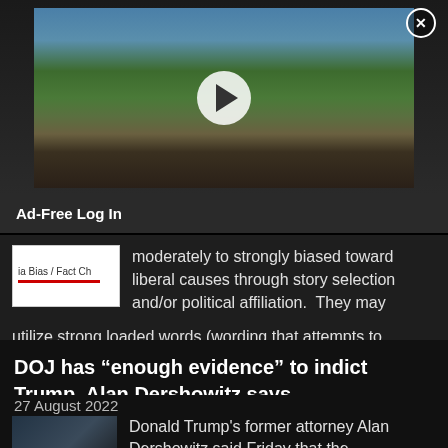[Figure (screenshot): Video thumbnail showing a coastal scene with ocean waves, palm trees, green hill, and a play button overlay. An X close button is in the top right corner.]
Ad-Free Log In
moderately to strongly biased toward liberal causes through story selection and/or political affiliation.  They may utilize strong loaded words (wording that attempts to influence an audience… [...]
DOJ has “enough evidence” to indict Trump, Alan Dershowitz says
27 August 2022
Donald Trump's former attorney Alan Dershowitz said Friday that the